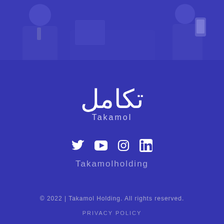[Figure (photo): Blue-tinted photo strip at top showing people in business/professional setting]
[Figure (logo): Takamol logo with Arabic text (تكامل) and Latin text 'Takamol' below]
[Figure (infographic): Social media icons: Twitter, YouTube, Instagram, LinkedIn]
Takamolholding
© 2022 | Takamol Holding. All rights reserved.
PRIVACY POLICY